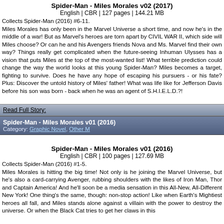Spider-Man - Miles Morales v02 (2017)
English | CBR | 127 pages | 144.21 MB
Collects Spider-Man (2016) #6-11.
Miles Morales has only been in the Marvel Universe a short time, and now he's in the middle of a war! But as Marvel's heroes are torn apart by CIVIL WAR II, which side will Miles choose? Or can he and his Avengers friends Nova and Ms. Marvel find their own way? Things really get complicated when the future-seeing Inhuman Ulysses has a vision that puts Miles at the top of the most-wanted list! What terrible prediction could change the way the world looks at this young Spider-Man? Miles becomes a target, fighting to survive. Does he have any hope of escaping his pursuers - or his fate? Plus: Discover the untold history of Miles' father! What was life like for Jefferson Davis before his son was born - back when he was an agent of S.H.I.E.L.D.?!
Read Full Story:
Spider-Man - Miles Morales v01 (2016)
Category: Graphic Novel, Other M
Spider-Man - Miles Morales v01 (2016)
English | CBR | 100 pages | 127.69 MB
Collects Spider-Man (2016) #1-5.
Miles Morales is hitting the big time! Not only is he joining the Marvel Universe, but he's also a card-carrying Avenger, rubbing shoulders with the likes of Iron Man, Thor and Captain America! And he'll soon be a media sensation in this All-New, All-Different New York! One thing's the same, though: non-stop action! Like when Earth's Mightiest heroes all fall, and Miles stands alone against a villain with the power to destroy the universe. Or when the Black Cat tries to get her claws in this...